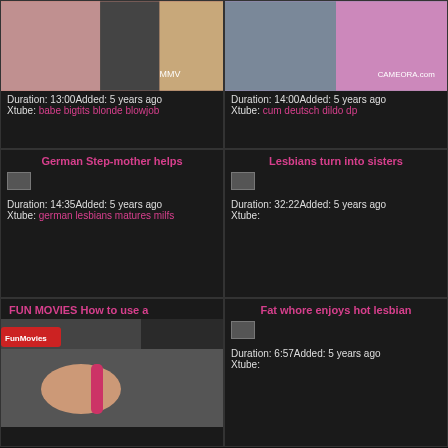[Figure (photo): Video thumbnail showing three people]
Duration: 13:00Added: 5 years ago
Xtube: babe bigtits blonde blowjob
[Figure (photo): Video thumbnail showing two women on couch]
Duration: 14:00Added: 5 years ago
Xtube: cum deutsch dildo dp
German Step-mother helps
[Figure (photo): Small broken image thumbnail]
Duration: 14:35Added: 5 years ago
Xtube: german lesbians matures milfs
Lesbians turn into sisters
[Figure (photo): Small broken image thumbnail]
Duration: 32:22Added: 5 years ago
Xtube:
FUN MOVIES How to use a
[Figure (photo): Video thumbnail showing woman with bottle]
Fat whore enjoys hot lesbian
[Figure (photo): Small broken image thumbnail]
Duration: 6:57Added: 5 years ago
Xtube: